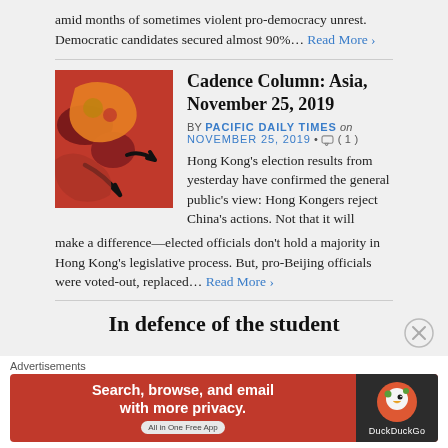amid months of sometimes violent pro-democracy unrest. Democratic candidates secured almost 90%… Read More ›
Cadence Column: Asia, November 25, 2019
BY PACIFIC DAILY TIMES on NOVEMBER 25, 2019 · ○ ( 1 )
[Figure (illustration): Red and orange stylized map of Asia with black arrow shapes]
Hong Kong's election results from yesterday have confirmed the general public's view: Hong Kongers reject China's actions. Not that it will make a difference—elected officials don't hold a majority in Hong Kong's legislative process. But, pro-Beijing officials were voted-out, replaced… Read More ›
In defence of the student
Advertisements
[Figure (screenshot): DuckDuckGo advertisement banner: Search, browse, and email with more privacy. All in One Free App]